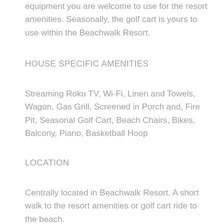equipment you are welcome to use for the resort amenities. Seasonally, the golf cart is yours to use within the Beachwalk Resort.
HOUSE SPECIFIC AMENITIES
Streaming Roku TV, Wi-Fi, Linen and Towels, Wagon, Gas Grill, Screened in Porch and, Fire Pit, Seasonal Golf Cart, Beach Chairs, Bikes, Balcony, Piano, Basketball Hoop
LOCATION
Centrally located in Beachwalk Resort. A short walk to the resort amenities or golf cart ride to the beach.